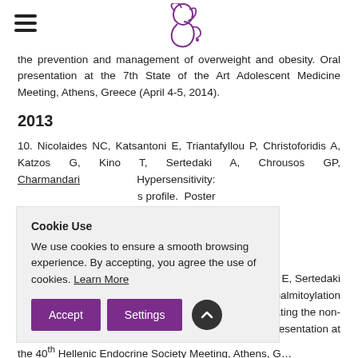[Logo and hamburger menu]
the prevention and management of overweight and obesity. Oral presentation at the 7th State of the Art Adolescent Medicine Meeting, Athens, Greece (April 4-5, 2014).
2013
10. Nicolaides NC, Katsantoni E, Triantafyllou P, Christoforidis A, Katzos G, Kino T, Sertedaki A, Chrousos GP, Charmandari … Hypersensitivity: … profile. Poster … Society Meeting,
… ntoni E, Sertedaki … S-palmitoylation … ediating the non- … presentation at
the 40th Hellenic Endocrine Society Meeting, Athens, G…